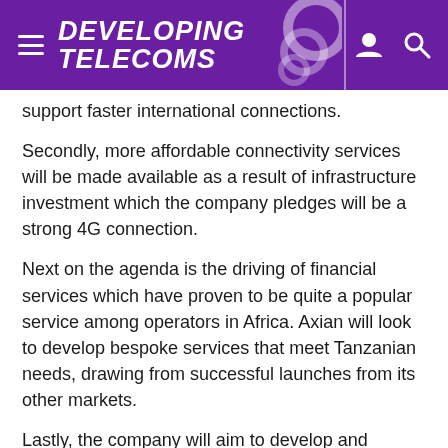DEVELOPING TELECOMS
support faster international connections.
Secondly, more affordable connectivity services will be made available as a result of infrastructure investment which the company pledges will be a strong 4G connection.
Next on the agenda is the driving of financial services which have proven to be quite a popular service among operators in Africa. Axian will look to develop bespoke services that meet Tanzanian needs, drawing from successful launches from its other markets.
Lastly, the company will aim to develop and nurture talent with a strong focus on mobility, agility, training and shared knowledge among employees of the merged unit.